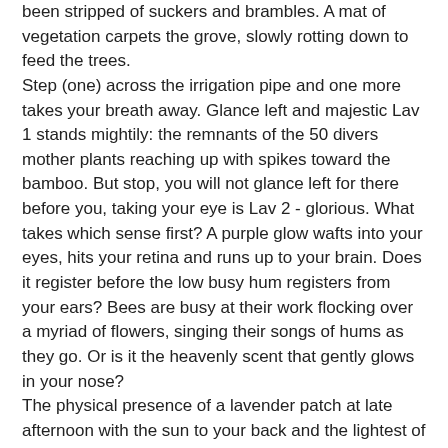been stripped of suckers and brambles. A mat of vegetation carpets the grove, slowly rotting down to feed the trees.
Step (one) across the irrigation pipe and one more takes your breath away. Glance left and majestic Lav 1 stands mightily: the remnants of the 50 divers mother plants reaching up with spikes toward the bamboo. But stop, you will not glance left for there before you, taking your eye is Lav 2 - glorious. What takes which sense first? A purple glow wafts into your eyes, hits your retina and runs up to your brain. Does it register before the low busy hum registers from your ears? Bees are busy at their work flocking over a myriad of flowers, singing their songs of hums as they go. Or is it the heavenly scent that gently glows in your nose?
The physical presence of a lavender patch at late afternoon with the sun to your back and the lightest of breezes coming up from the river brings all of these sensations but ... But it is the essential harmony and rightness of the whole that gets you first. It is like standing in front of a Rothko painting, it hits you with its quiddity, its whatness before you perceive any of the components of it. It impresses itself upon you instantly.